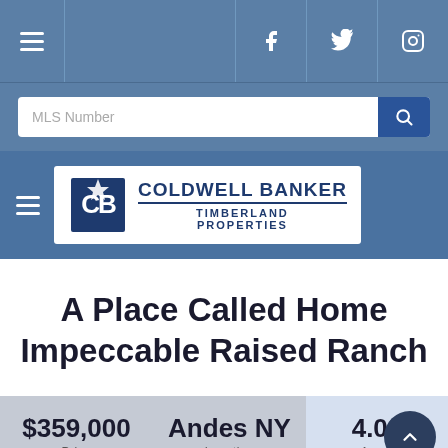Navigation bar with hamburger menu and social icons (Facebook, Twitter, Instagram)
MLS Number
[Figure (logo): Coldwell Banker Timberland Properties logo — CB monogram in dark blue square with gold star, text COLDWELL BANKER TIMBERLAND PROPERTIES]
A Place Called Home Impeccable Raised Ranch
$359,000 Price | Andes NY Location | 4.00 Acres